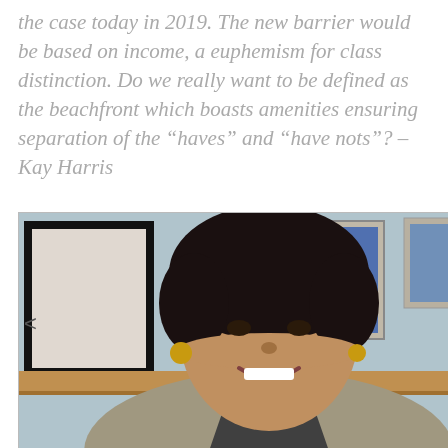the case today in 2019. The new barrier would be based on income, a euphemism for class distinction. Do we really want to be defined as the beachfront which boasts amenities ensuring separation of the “haves” and “have nots”? – Kay Harris
[Figure (photo): Portrait photo of Kay Harris, a woman with curly dark hair and a warm smile, wearing earrings and a light jacket, photographed indoors with framed pictures and a colorful postcard visible in the background.]